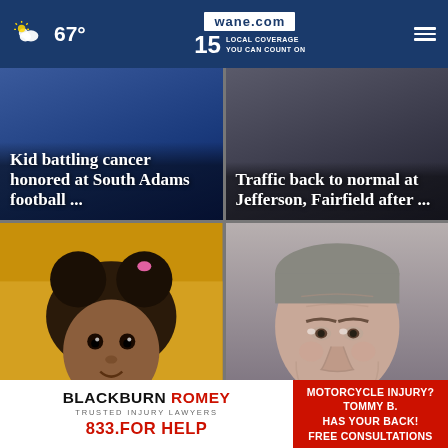67° | wane.com 15 LOCAL COVERAGE YOU CAN COUNT ON
[Figure (screenshot): News card: Kid battling cancer honored at South Adams football ...]
[Figure (screenshot): News card: Traffic back to normal at Jefferson, Fairfield after ...]
[Figure (photo): Photo of a young Black girl with bun hairstyle and pink hair tie against yellow background. Headline: Body matching missing 4-year-old Pla...]
[Figure (photo): Mugshot-style photo of a middle-aged white man. Headline: Indiana man accused of murderin...]
[Figure (infographic): Advertisement: BLACKBURN ROMEY Trusted Injury Lawyers 833.FOR HELP | MOTORCYCLE INJURY? TOMMY B. HAS YOUR BACK! FREE CONSULTATIONS]